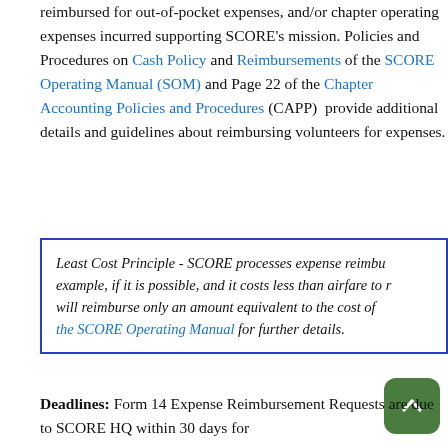reimbursed for out-of-pocket expenses, and/or chapter operating expenses incurred supporting SCORE's mission. Policies and Procedures on Cash Policy and Reimbursements of the SCORE Operating Manual (SOM) and Page 22 of the Chapter Accounting Policies and Procedures (CAPP)  provide additional details and guidelines about reimbursing volunteers for expenses.
Least Cost Principle - SCORE processes expense reimbu... example, if it is possible, and it costs less than airfare to r... will reimburse only an amount equivalent to the cost of... the SCORE Operating Manual for further details.
Deadlines: Form 14 Expense Reimbursement Requests are due to SCORE HQ within 30 days for